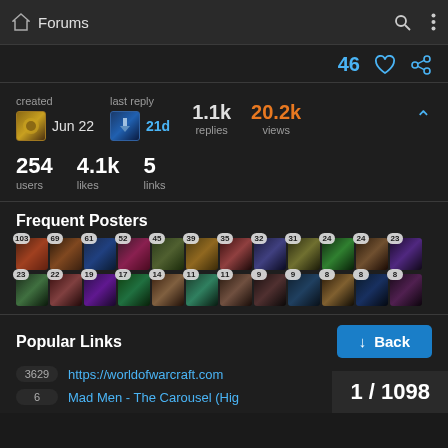Forums
46 ♡ 🔗
created Jun 22  last reply 21d  1.1k replies  20.2k views
254 users  4.1k likes  5 links
Frequent Posters
[Figure (infographic): Grid of World of Warcraft character avatars with post count badges: 103, 69, 61, 52, 45, 39, 35, 32, 31, 24, 24, 23, 23, 22, 19, 17, 14, 11, 11, 9, 9, 8, 8, 8]
Popular Links
3629  https://worldofwarcraft.com
6  Mad Men - The Carousel (High...
1 / 1098